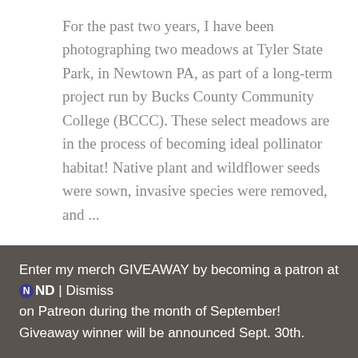For the past two years, I have been photographing two meadows at Tyler State Park, in Newtown PA, as part of a long-term project run by Bucks County Community College (BCCC). These select meadows are in the process of becoming ideal pollinator habitat! Native plant and wildflower seeds were sown, invasive species were removed, and ...
Continue reading
Category: Backyard Habitats, conservation, Gardening, Plants, Seasons, Special Conservation Designated Events,
Enter my merch GIVEAWAY by becoming a patron at ND | Dismiss on Patreon during the month of September! Giveaway winner will be announced Sept. 30th.